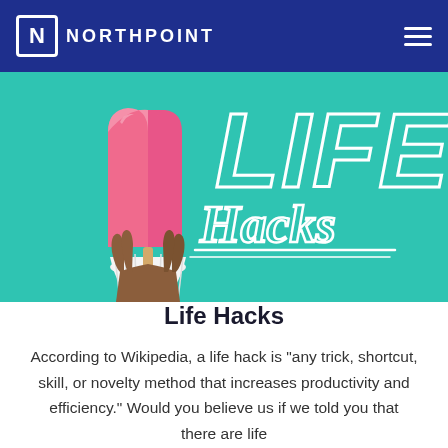NORTHPOINT
[Figure (illustration): Hero banner image showing a hand holding a pink popsicle in a cupcake wrapper against a teal background, with large decorative text reading 'LIFE Hacks' in white outline lettering]
Life Hacks
According to Wikipedia, a life hack is "any trick, shortcut, skill, or novelty method that increases productivity and efficiency." Would you believe us if we told you that there are life